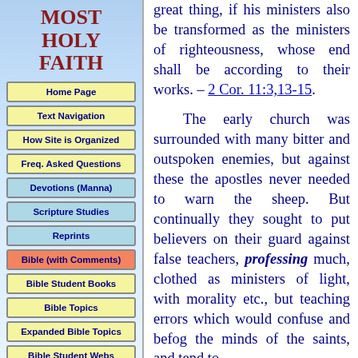MOST HOLY FAITH
Home Page
Text Navigation
How Site is Organized
Freq. Asked Questions
Devotions (Manna)
Scripture Studies
Reprints
Bible (with Comments)
Bible Student Books
Bible Topics
Expanded Bible Topics
Bible Student Webs
Miscellaneous
great thing, if his ministers also be transformed as the ministers of righteousness, whose end shall be according to their works. – 2 Cor. 11:3,13-15.
The early church was surrounded with many bitter and outspoken enemies, but against these the apostles never needed to warn the sheep. But continually they sought to put believers on their guard against false teachers, professing much, clothed as ministers of light, with morality etc., but teaching errors which would confuse and befog the minds of the saints, and tend to